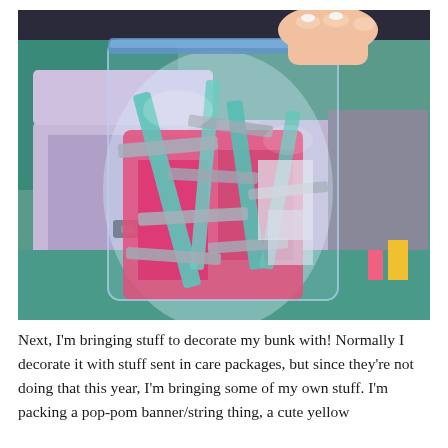[Figure (photo): A person holding up a large clear ziplock bag filled with colorful items including pink fabric, teal/mint ribbons and tape strips, over an open lavender/light purple plastic storage bin sitting on a teal shag carpet. More items are visible in the background.]
Next, I'm bringing stuff to decorate my bunk with! Normally I decorate it with stuff sent in care packages, but since they're not doing that this year, I'm bringing some of my own stuff. I'm packing a pop-pom banner/string thing, a cute yellow